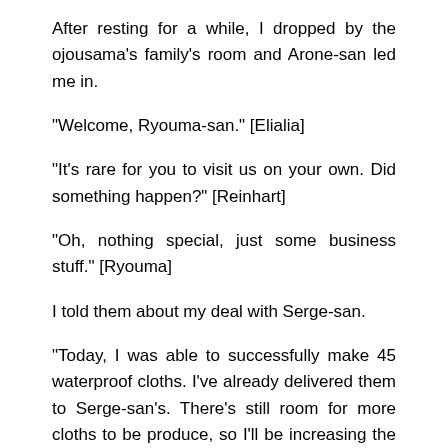After resting for a while, I dropped by the ojousama's family's room and Arone-san led me in.
“Welcome, Ryouma-san.” [Elialia]
“It’s rare for you to visit us on your own. Did something happen?” [Reinhart]
“Oh, nothing special, just some business stuff.” [Ryouma]
I told them about my deal with Serge-san.
“Today, I was able to successfully make 45 waterproof cloths. I’ve already delivered them to Serge-san’s. There’s still room for more cloths to be produce, so I’ll be increasing the volume tomorrow. I want to see how far I can go.” [Ryouma]